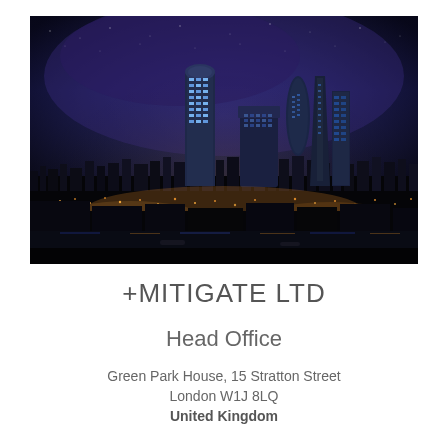[Figure (photo): Aerial night-time photograph of London city skyline showing illuminated skyscrapers and city lights against a dark blue sky]
+MITIGATE LTD
Head Office
Green Park House, 15 Stratton Street
London W1J 8LQ
United Kingdom